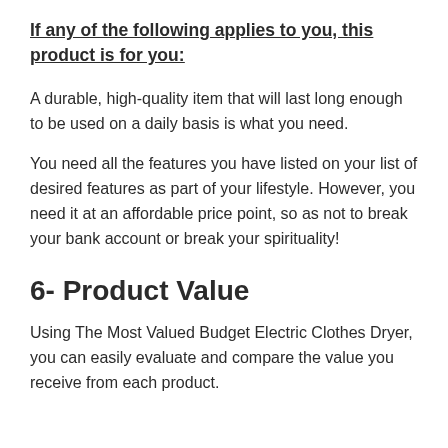If any of the following applies to you, this product is for you:
A durable, high-quality item that will last long enough to be used on a daily basis is what you need.
You need all the features you have listed on your list of desired features as part of your lifestyle. However, you need it at an affordable price point, so as not to break your bank account or break your spirituality!
6- Product Value
Using The Most Valued Budget Electric Clothes Dryer, you can easily evaluate and compare the value you receive from each product.